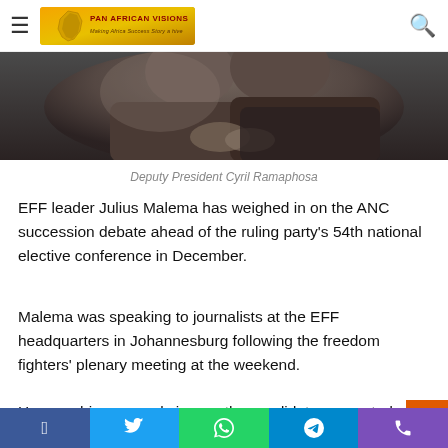Pan African Visions — Making Africa Success Story a hive
[Figure (photo): Cropped photo of Deputy President Cyril Ramaphosa, dark background, close-up view]
Deputy President Cyril Ramaphosa
EFF leader Julius Malema has weighed in on the ANC succession debate ahead of the ruling party's 54th national elective conference in December.
Malema was speaking to journalists at the EFF headquarters in Johannesburg following the freedom fighters' plenary meeting at the weekend.
He gave his personal view on the candidates expected to
Facebook | Twitter | WhatsApp | Telegram | Phone